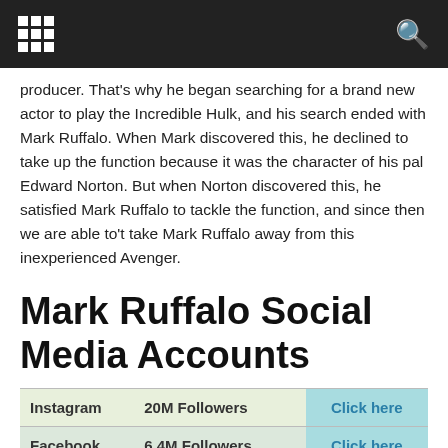[navigation bar with grid icon and search icon]
producer. That's why he began searching for a brand new actor to play the Incredible Hulk, and his search ended with Mark Ruffalo. When Mark discovered this, he declined to take up the function because it was the character of his pal Edward Norton. But when Norton discovered this, he satisfied Mark Ruffalo to tackle the function, and since then we are able to't take Mark Ruffalo away from this inexperienced Avenger.
Mark Ruffalo Social Media Accounts
|  |  |  |
| --- | --- | --- |
| Instagram | 20M Followers | Click here |
| Facebook | 6.4M Followers | Click here |
| Twitter | 7.6M Followers | Click here |